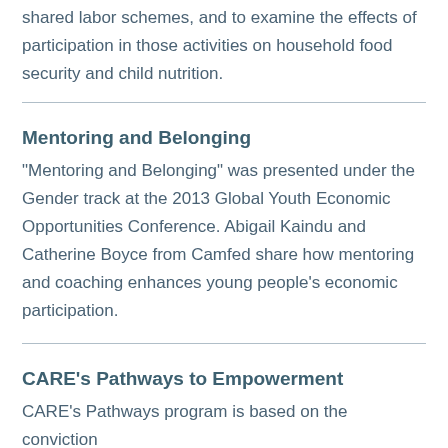shared labor schemes, and to examine the effects of participation in those activities on household food security and child nutrition.
Mentoring and Belonging
"Mentoring and Belonging" was presented under the Gender track at the 2013 Global Youth Economic Opportunities Conference. Abigail Kaindu and Catherine Boyce from Camfed share how mentoring and coaching enhances young people's economic participation.
CARE's Pathways to Empowerment
CARE's Pathways program is based on the conviction